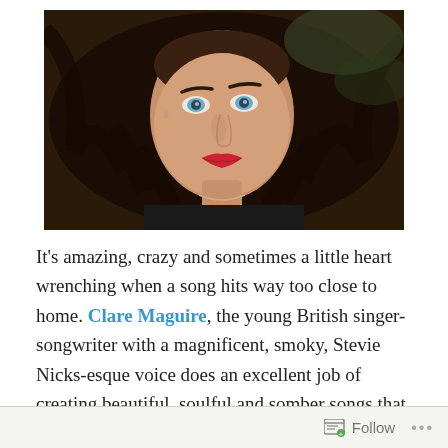[Figure (photo): Close-up portrait photo of a young woman with dark hair spread out, blue/green eyes, and red lipstick, lying down looking up at camera. Photo has a slightly vintage/warm tone.]
It's amazing, crazy and sometimes a little heart wrenching when a song hits way too close to home. Clare Maguire, the young British singer-songwriter with a magnificent, smoky, Stevie Nicks-esque voice does an excellent job of creating beautiful, soulful and somber songs that relate to many.
Follow ...